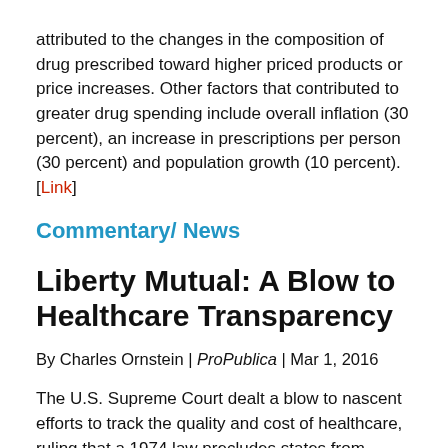attributed to the changes in the composition of drug prescribed toward higher priced products or price increases. Other factors that contributed to greater drug spending include overall inflation (30 percent), an increase in prescriptions per person (30 percent) and population growth (10 percent). [Link]
Commentary/ News
Liberty Mutual: A Blow to Healthcare Transparency
By Charles Ornstein | ProPublica | Mar 1, 2016
The U.S. Supreme Court dealt a blow to nascent efforts to track the quality and cost of healthcare, ruling that a 1974 law precludes states from requiring self-insured health plans submit their healthcare claims to databases called APCDs. The arguments were arcane, but the effect is